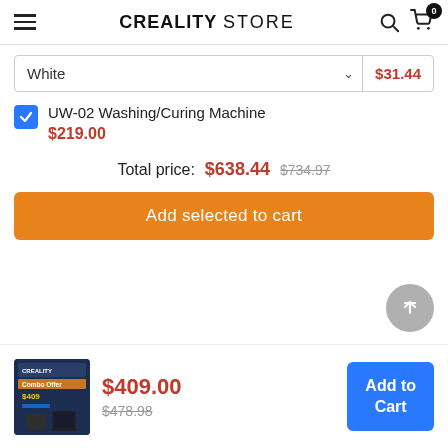CREALITY STORE
White $31.44
UW-02 Washing/Curing Machine $219.00
Total price: $638.44 $734.97
Add selected to cart
$409.00 $478.98
Add to Cart